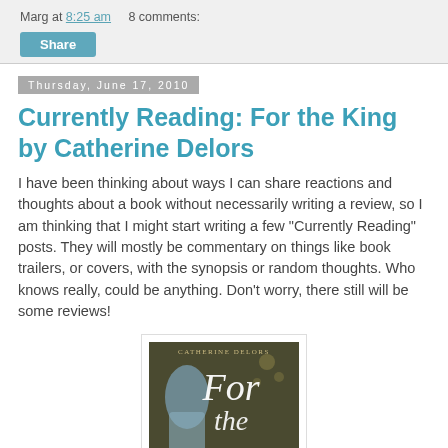Marg at 8:25 am   8 comments:
Share
Thursday, June 17, 2010
Currently Reading: For the King by Catherine Delors
I have been thinking about ways I can share reactions and thoughts about a book without necessarily writing a review, so I am thinking that I might start writing a few "Currently Reading" posts. They will mostly be commentary on things like book trailers, or covers, with the synopsis or random thoughts. Who knows really, could be anything. Don't worry, there still will be some reviews!
[Figure (photo): Book cover of 'For the King' by Catherine Delors, featuring a figure in a blue dress against a dark background with decorative sparkle elements and the book title in white italic script.]